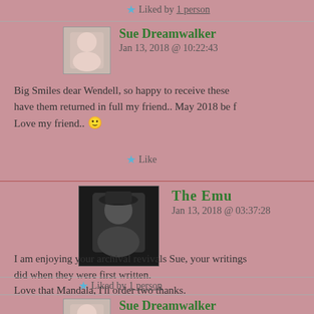★ Liked by 1 person
Sue Dreamwalker
Jan 13, 2018 @ 10:22:43
Big Smiles dear Wendell, so happy to receive these have them returned in full my friend.. May 2018 be f Love my friend.. 🙂
★ Like
The Emu
Jan 13, 2018 @ 03:37:28
I am enjoying your archival revivals Sue, your writings did when they were first written. Love that Mandala, I'll order two thanks.
★ Liked by 1 person
Sue Dreamwalker
Jan 13, 2018 @ 10:19:20